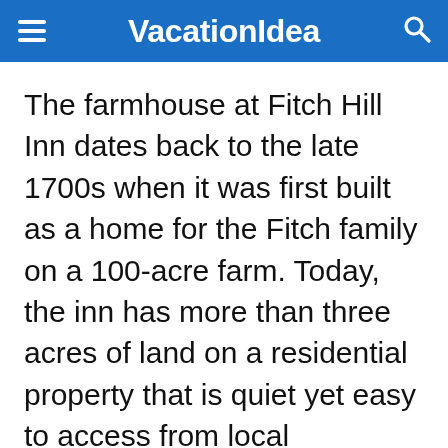VacationIdea
The farmhouse at Fitch Hill Inn dates back to the late 1700s when it was first built as a home for the Fitch family on a 100-acre farm. Today, the inn has more than three acres of land on a residential property that is quiet yet easy to access from local highways. There are four guest rooms along with two suites with one room, all of which have modern amenities. Every room has views of the gardens, woods, and/or Green Mountains and